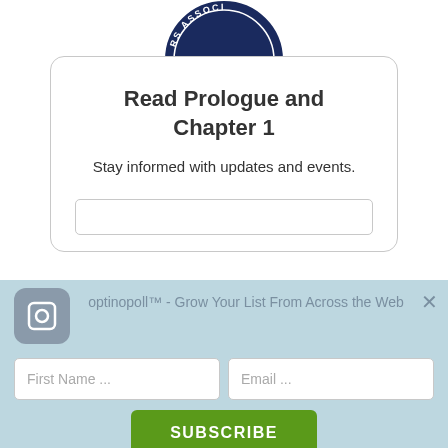[Figure (logo): Partial circular logo/seal visible at top center, dark blue with text 'RS ASSOC' visible along arc]
Read Prologue and Chapter 1
Stay informed with updates and events.
optinopoll™ - Grow Your List From Across the Web
First Name ...
Email ...
SUBSCRIBE
We guarantee 100% privacy. Your information will not be shared.